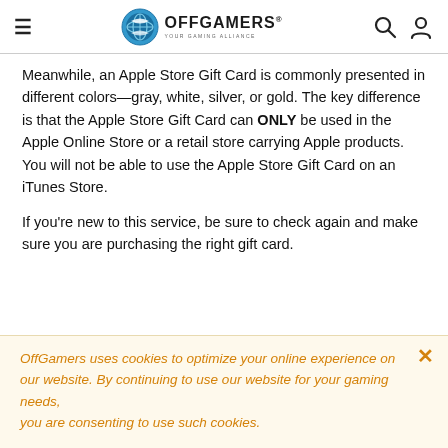OffGamers — Your Gaming Alliance
Meanwhile, an Apple Store Gift Card is commonly presented in different colors—gray, white, silver, or gold. The key difference is that the Apple Store Gift Card can ONLY be used in the Apple Online Store or a retail store carrying Apple products. You will not be able to use the Apple Store Gift Card on an iTunes Store.
If you're new to this service, be sure to check again and make sure you are purchasing the right gift card.
OffGamers uses cookies to optimize your online experience on our website. By continuing to use our website for your gaming needs, you are consenting to use such cookies.